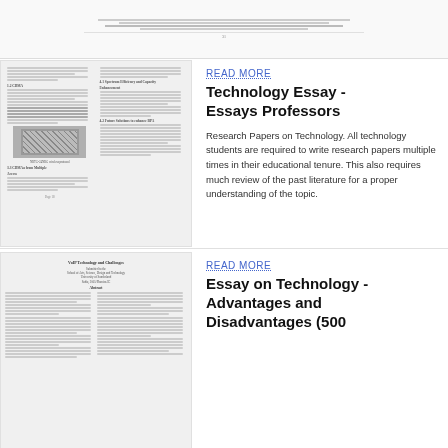[Figure (screenshot): Thumbnail of a document page showing text about networking/CDMA technology]
READ MORE
Technology Essay - Essays Professors
Research Papers on Technology. All technology students are required to write research papers multiple times in their educational tenure. This also requires much review of the past literature for a proper understanding of the topic.
[Figure (screenshot): Thumbnail of a document page about VoIP Technology and Challenges]
READ MORE
Essay on Technology - Advantages and Disadvantages (500